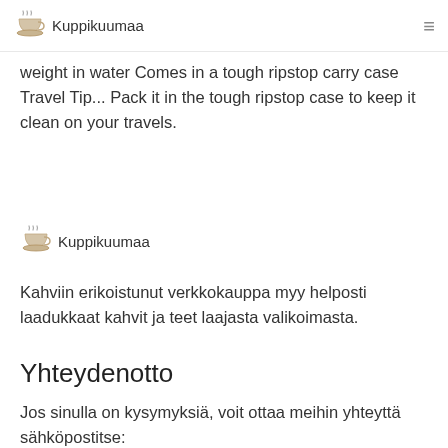Kuppikuumaa
weight in water Comes in a tough ripstop carry case Travel Tip... Pack it in the tough ripstop case to keep it clean on your travels.
[Figure (logo): Kuppikuumaa logo with coffee cup icon and text]
Kahviin erikoistunut verkkokauppa myy helposti laadukkaat kahvit ja teet laajasta valikoimasta.
Yhteydenotto
Jos sinulla on kysymyksiä, voit ottaa meihin yhteyttä sähköpostitse: